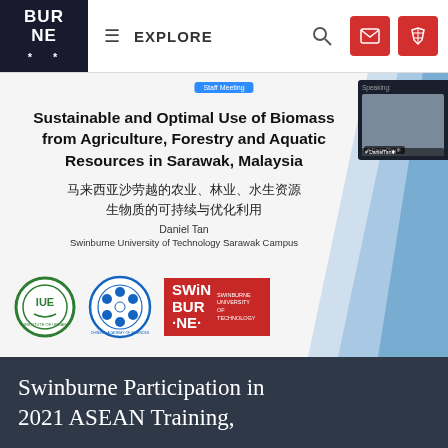BUR NE * EXPLORE
[Figure (screenshot): Screenshot of a Zoom meeting showing a presentation slide titled 'Sustainable and Optimal Use of Biomass from Agriculture, Forestry and Aquatic Resources in Sarawak, Malaysia' with Chinese subtitle, author Daniel Tan from Swinburne University of Technology Sarawak Campus, and logos of IUE, Chinese Academy of Sciences, and Swinburne University of Technology. A speaker video panel is visible on the right.]
Swinburne Participation in 2021 ASEAN Training,